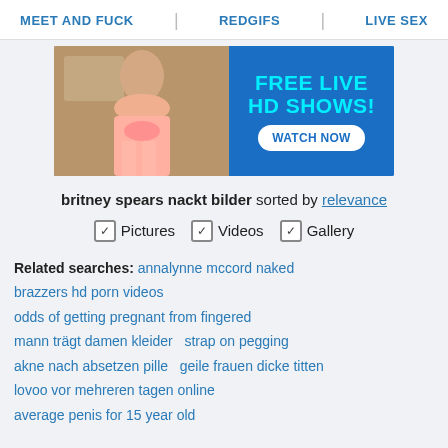MEET AND FUCK   REDGIFS   LIVE SEX
[Figure (photo): Advertisement banner with woman in lingerie and text FREE LIVE HD SHOWS! WATCH NOW]
britney spears nackt bilder sorted by relevance
✓ Pictures  ✓ Videos  ✓ Gallery
Related searches: annalynne mccord naked  brazzers hd porn videos  odds of getting pregnant from fingered  mann trägt damen kleider   strap on pegging  akne nach absetzen pille   geile frauen dicke titten  lovoo vor mehreren tagen online  average penis for 15 year old